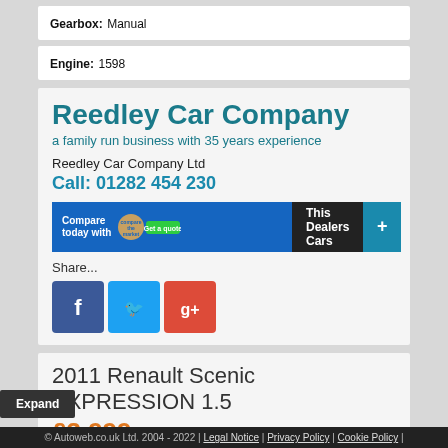Gearbox: Manual
Engine: 1598
Reedley Car Company
a family run business with 35 years experience
Reedley Car Company Ltd
Call: 01282 454 230
[Figure (infographic): Compare today with comparethemarket - Get a quote button, This Dealers Cars button with + icon]
Share...
[Figure (infographic): Social media icons: Facebook, Twitter, Google+]
2011 Renault Scenic EXPRESSION 1.5
£3,999
Expand
© Autoweb.co.uk Ltd. 2004 - 2022 | Legal Notice | Privacy Policy | Cookie Policy |